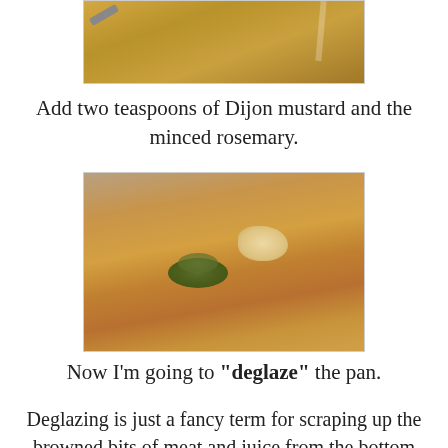[Figure (photo): Top of image showing a pot with yellow/golden liquid being poured in, partial view at top of page]
Add two teaspoons of Dijon mustard and the minced rosemary.
[Figure (photo): A close-up of a pan with creamy orange-brown sauce, a lump of butter, and a pile of dried green herbs (rosemary)]
Now I'm going to "deglaze" the pan.
Deglazing is just a fancy term for scraping up the browned bits of meat and juice from the bottom and incorporating